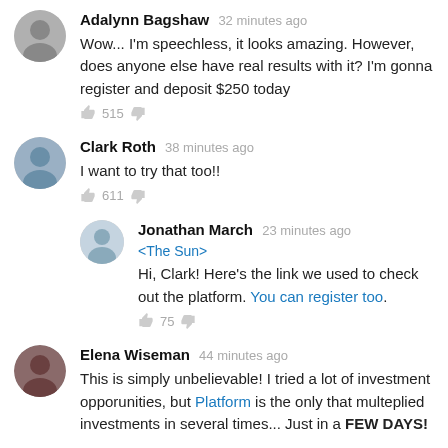Adalynn Bagshaw 32 minutes ago — Wow... I'm speechless, it looks amazing. However, does anyone else have real results with it? I'm gonna register and deposit $250 today — 515 votes
Clark Roth 38 minutes ago — I want to try that too!! — 611 votes
Jonathan March 23 minutes ago <The Sun> — Hi, Clark! Here's the link we used to check out the platform. You can register too. — 75 votes
Elena Wiseman 44 minutes ago — This is simply unbelievable! I tried a lot of investment opporunities, but Platform is the only that multeplied investments in several times... Just in a FEW DAYS!